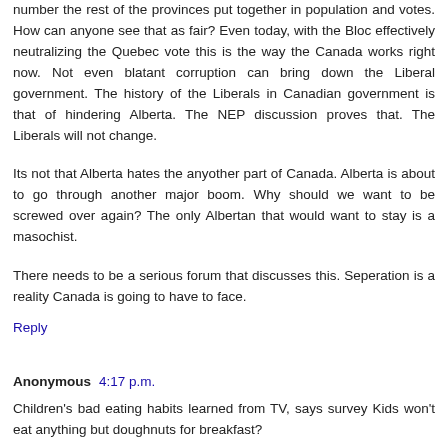number the rest of the provinces put together in population and votes. How can anyone see that as fair? Even today, with the Bloc effectively neutralizing the Quebec vote this is the way the Canada works right now. Not even blatant corruption can bring down the Liberal government. The history of the Liberals in Canadian government is that of hindering Alberta. The NEP discussion proves that. The Liberals will not change.
Its not that Alberta hates the anyother part of Canada. Alberta is about to go through another major boom. Why should we want to be screwed over again? The only Albertan that would want to stay is a masochist.
There needs to be a serious forum that discusses this. Seperation is a reality Canada is going to have to face.
Reply
Anonymous 4:17 p.m.
Children's bad eating habits learned from TV, says survey Kids won't eat anything but doughnuts for breakfast?